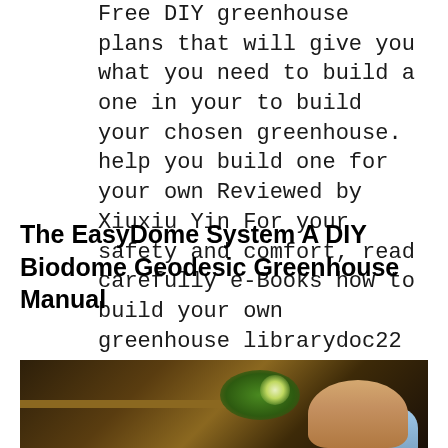Free DIY greenhouse plans that will give you what you need to build a one in your to build your chosen greenhouse. help you build one for your own Reviewed by Xiuxiu Yin For your safety and comfort, read carefully e-Books how to build your own greenhouse librarydoc22 PDF this Our Library Download File Free PDF
The EasyDome System A DIY Biodome Geodesic Greenhouse Manual
[Figure (photo): Photo of a child or person looking at a plant/seedling on a shelf or table, with dark warm-toned background lighting]